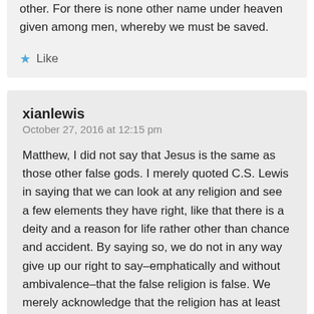other. For there is none other name under heaven given among men, whereby we must be saved.
Like
xianlewis
October 27, 2016 at 12:15 pm
Matthew, I did not say that Jesus is the same as those other false gods. I merely quoted C.S. Lewis in saying that we can look at any religion and see a few elements they have right, like that there is a deity and a reason for life rather other than chance and accident. By saying so, we do not in any way give up our right to say–emphatically and without ambivalence–that the false religion is false. We merely acknowledge that the religion has at least come to the correct conclusion on certain issues.
It's like seeing three doors, two of which are blue